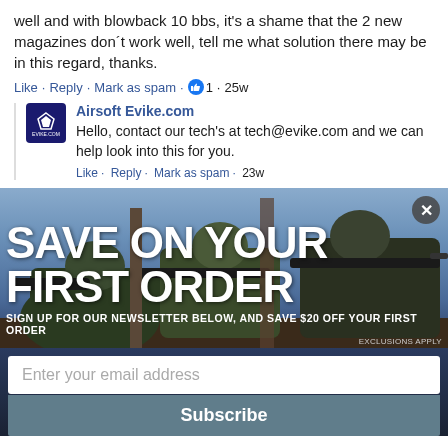well and with blowback 10 bbs, it's a shame that the 2 new magazines don´t work well, tell me what solution there may be in this regard, thanks.
Like · Reply · Mark as spam · 👍 1 · 25w
Airsoft Evike.com
Hello, contact our tech's at tech@evike.com and we can help look into this for you.
Like · Reply · Mark as spam · 23w
[Figure (photo): Advertisement overlay showing soldiers in military gear aiming rifles, with promotional text 'SAVE ON YOUR FIRST ORDER', a newsletter signup field, and a Subscribe button.]
SAVE ON YOUR FIRST ORDER
SIGN UP FOR OUR NEWSLETTER BELOW, AND SAVE $20 OFF YOUR FIRST ORDER
EXCLUSIONS APPLY
Enter your email address
Subscribe